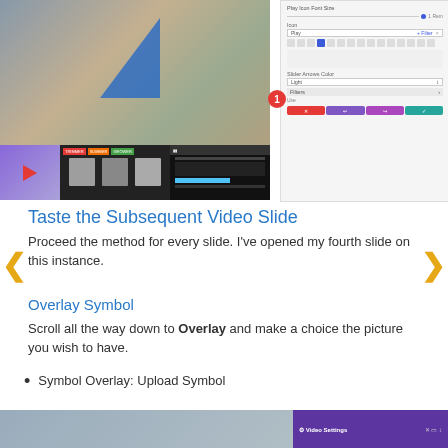[Figure (screenshot): Screenshot showing a tablet with a blue triangle overlay and a settings panel with icon grid, slider, filters, and action buttons. Below is a thumbnail strip with three video/image thumbnails.]
Taste the Subsequent Video Slide
Proceed the method for every slide. I've opened my fourth slide on this instance.
Overlay Symbol
Scroll all the way down to Overlay and make a choice the picture you wish to have.
Symbol Overlay: Upload Symbol
[Figure (screenshot): Bottom strip showing partial screenshot with video settings panel on the right in purple.]